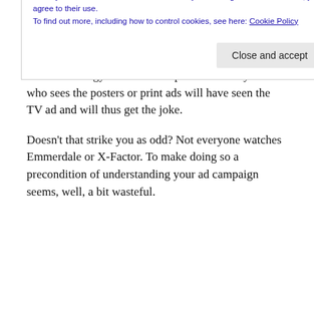Showing the absence of something is always a tricky brief to crack.
No, it's not the idea that irks me about this, or the creative strategy. It's the assumption that everyone who sees the posters or print ads will have seen the TV ad and will thus get the joke.
Doesn't that strike you as odd? Not everyone watches Emmerdale or X-Factor. To make doing so a precondition of understanding your ad campaign seems, well, a bit wasteful.
Privacy & Cookies: This site uses cookies. By continuing to use this website, you agree to their use.
To find out more, including how to control cookies, see here: Cookie Policy
Close and accept